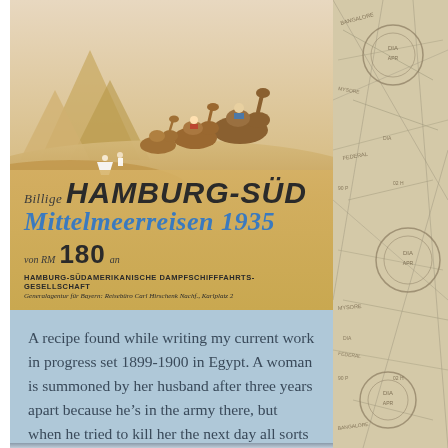[Figure (illustration): Vintage 1935 Hamburg-Süd Mediterranean cruise travel poster showing camels and riders in desert with pyramid shapes. Text reads: Billige HAMBURG-SÜD Mittelmeerreisen 1935 180, HAMBURG-SÜDAMERIKANISCHE DAMPFSCHIFFFAHRTS-GESELLSCHAFT, Generalagentur für Bayern: Reisebüro Carl Hirschenk Nachf., Karlplatz 2]
A recipe found while writing my current work in progress set 1899-1900 in Egypt. A woman is summoned by her husband after three years apart because he's in the army there, but when he tried to kill her the next day all sorts of trouble is unleashed.
[Figure (map): Vintage map background with travel stamps visible on the right side of the page]